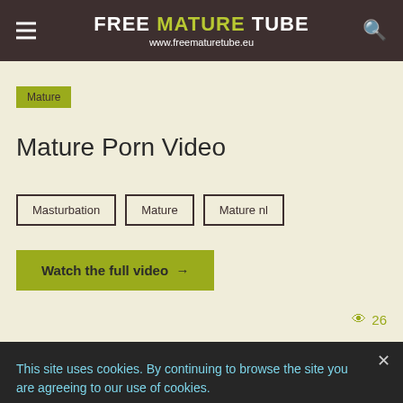FREE MATURE TUBE www.freematuretube.eu
Mature
Mature Porn Video
Masturbation
Mature
Mature nl
Watch the full video →
26
This site uses cookies. By continuing to browse the site you are agreeing to our use of cookies.